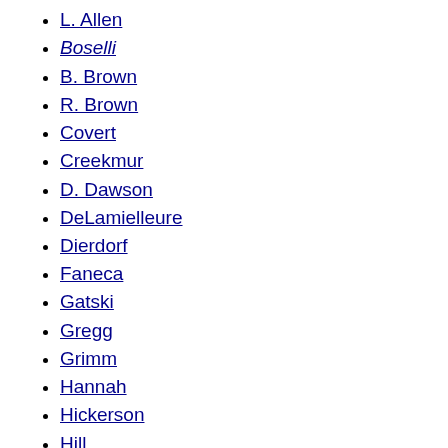Winslow
L. Allen
Boselli
B. Brown
R. Brown
Covert
Creekmur
D. Dawson
DeLamielleure
Dierdorf
Faneca
Gatski
Gregg
Grimm
Hannah
Hickerson
Hill
Hutchinson
S. Jones
W. Jones
Kramer
Langer
L. Little
Mack
Matthews